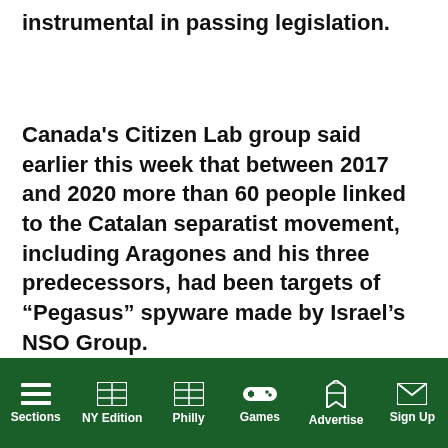instrumental in passing legislation.
Canada's Citizen Lab group said earlier this week that between 2017 and 2020 more than 60 people linked to the Catalan separatist movement, including Aragones and his three predecessors, had been targets of “Pegasus” spyware made by Israel's NSO Group.
[Figure (screenshot): Video popup overlay with title 'Giant panda Qin Qin gives birth to t...' and a close button (X). The video screen shows a black background with a yellow muted speaker button and a small teal dot. A teal banner on the right shows 'in China'.]
Sections | NY Edition | Philly | Games | Advertise | Sign Up